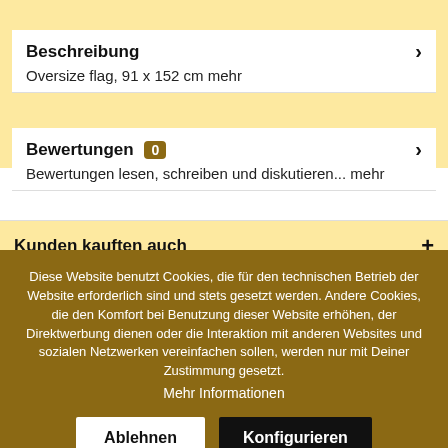Beschreibung
Oversize flag, 91 x 152 cm mehr
Bewertungen 0
Bewertungen lesen, schreiben und diskutieren... mehr
Kunden kauften auch
Diese Website benutzt Cookies, die für den technischen Betrieb der Website erforderlich sind und stets gesetzt werden. Andere Cookies, die den Komfort bei Benutzung dieser Website erhöhen, der Direktwerbung dienen oder die Interaktion mit anderen Websites und sozialen Netzwerken vereinfachen sollen, werden nur mit Deiner Zustimmung gesetzt.
Mehr Informationen
Ablehnen
Konfigurieren